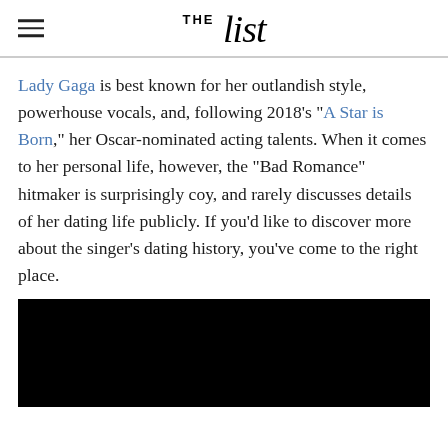THE list
Lady Gaga is best known for her outlandish style, powerhouse vocals, and, following 2018's "A Star is Born," her Oscar-nominated acting talents. When it comes to her personal life, however, the "Bad Romance" hitmaker is surprisingly coy, and rarely discusses details of her dating life publicly. If you'd like to discover more about the singer's dating history, you've come to the right place.
[Figure (photo): Black rectangle image placeholder at bottom of page]